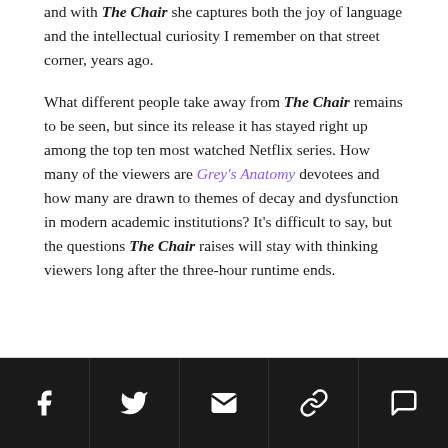and with The Chair she captures both the joy of language and the intellectual curiosity I remember on that street corner, years ago.
What different people take away from The Chair remains to be seen, but since its release it has stayed right up among the top ten most watched Netflix series. How many of the viewers are Grey's Anatomy devotees and how many are drawn to themes of decay and dysfunction in modern academic institutions? It's difficult to say, but the questions The Chair raises will stay with thinking viewers long after the three-hour runtime ends.
Social share icons: Facebook, Twitter, Email, Link, Comment